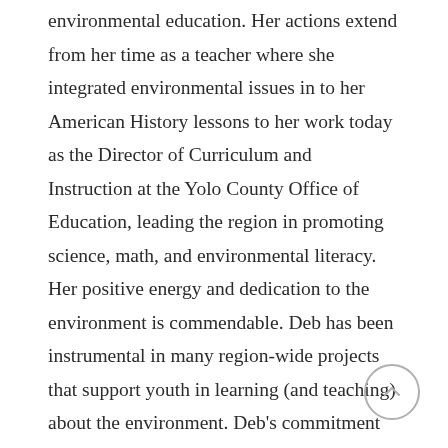environmental education. Her actions extend from her time as a teacher where she integrated environmental issues in to her American History lessons to her work today as the Director of Curriculum and Instruction at the Yolo County Office of Education, leading the region in promoting science, math, and environmental literacy. Her positive energy and dedication to the environment is commendable. Deb has been instrumental in many region-wide projects that support youth in learning (and teaching) about the environment. Deb's commitment to and unwavering passion for the environment has been instrumental in the success of